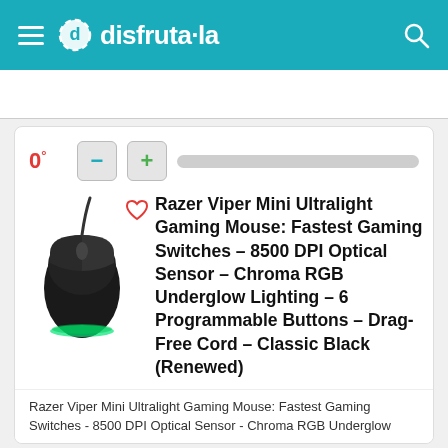disfruta·la
0°
Razer Viper Mini Ultralight Gaming Mouse: Fastest Gaming Switches – 8500 DPI Optical Sensor – Chroma RGB Underglow Lighting – 6 Programmable Buttons – Drag-Free Cord – Classic Black (Renewed)
Razer Viper Mini Ultralight Gaming Mouse: Fastest Gaming Switches - 8500 DPI Optical Sensor - Chroma RGB Underglow